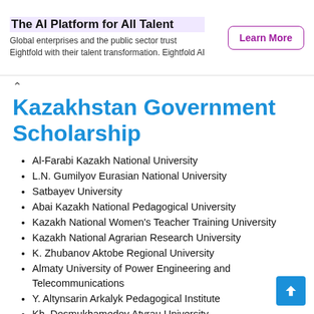The AI Platform for All Talent
Global enterprises and the public sector trust Eightfold with their talent transformation. Eightfold AI
Kazakhstan Government Scholarship
Al-Farabi Kazakh National University
L.N. Gumilyov Eurasian National University
Satbayev University
Abai Kazakh National Pedagogical University
Kazakh National Women's Teacher Training University
Kazakh National Agrarian Research University
K. Zhubanov Aktobe Regional University
Almaty University of Power Engineering and Telecommunications
Y. Altynsarin Arkalyk Pedagogical Institute
Kh. Dosmukhamedov Atyrau University
Utebayev University